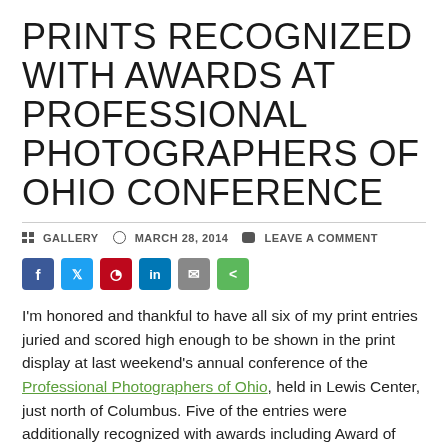PRINTS RECOGNIZED WITH AWARDS AT PROFESSIONAL PHOTOGRAPHERS OF OHIO CONFERENCE
GALLERY   MARCH 28, 2014   LEAVE A COMMENT
[Figure (infographic): Social sharing buttons: Facebook, Twitter, Pinterest, LinkedIn, Email, Share]
I'm honored and thankful to have all six of my print entries juried and scored high enough to be shown in the print display at last weekend's annual conference of the Professional Photographers of Ohio, held in Lewis Center, just north of Columbus. Five of the entries were additionally recognized with awards including Award of Achievement and Honorable Mentions.
Four of the images were captured in and around my home and